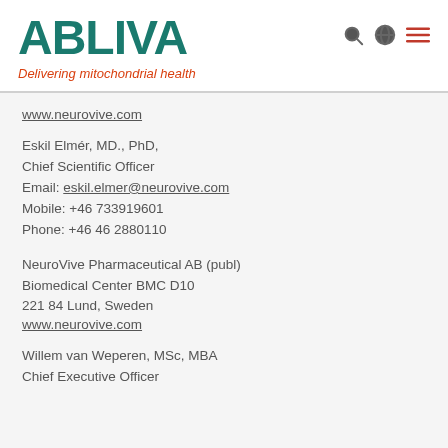[Figure (logo): ABLIVA logo with teal text and tagline 'Delivering mitochondrial health' in red-orange italic]
www.neurovive.com
Eskil Elmér, MD., PhD,
Chief Scientific Officer
Email: eskil.elmer@neurovive.com
Mobile: +46 733919601
Phone: +46 46 2880110
NeuroVive Pharmaceutical AB (publ)
Biomedical Center BMC D10
221 84 Lund, Sweden
www.neurovive.com
Willem van Weperen, MSc, MBA
Chief Executive Officer